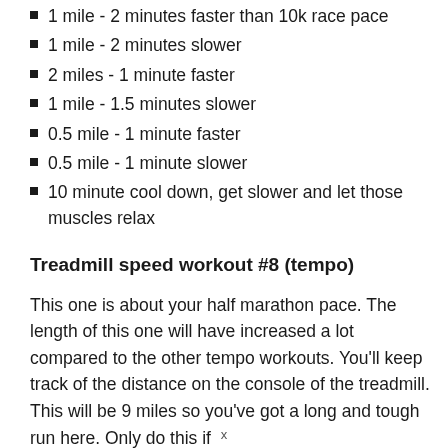1 mile - 2 minutes faster than 10k race pace
1 mile - 2 minutes slower
2 miles - 1 minute faster
1 mile - 1.5 minutes slower
0.5 mile - 1 minute faster
0.5 mile - 1 minute slower
10 minute cool down, get slower and let those muscles relax
Treadmill speed workout #8 (tempo)
This one is about your half marathon pace. The length of this one will have increased a lot compared to the other tempo workouts. You'll keep track of the distance on the console of the treadmill. This will be 9 miles so you've got a long and tough run here. Only do this if
x